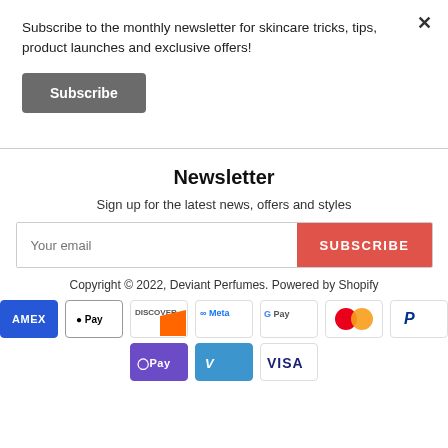Subscribe to the monthly newsletter for skincare tricks, tips, product launches and exclusive offers!
Subscribe
Newsletter
Sign up for the latest news, offers and styles
Your email
SUBSCRIBE
Copyright © 2022, Deviant Perfumes. Powered by Shopify
[Figure (other): Payment method icons: American Express, Apple Pay, Discover, Meta Pay, Google Pay, Mastercard, PayPal, OPay, Venmo, Visa]